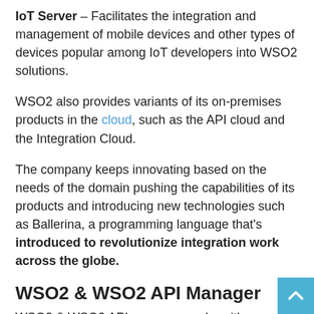IoT Server – Facilitates the integration and management of mobile devices and other types of devices popular among IoT developers into WSO2 solutions.
WSO2 also provides variants of its on-premises products in the cloud, such as the API cloud and the Integration Cloud.
The company keeps innovating based on the needs of the domain pushing the capabilities of its products and introducing new technologies such as Ballerina, a programming language that's introduced to revolutionize integration work across the globe.
WSO2 & WSO2 API Manager
WSO2 & WSO2 API manager works with enterprise...